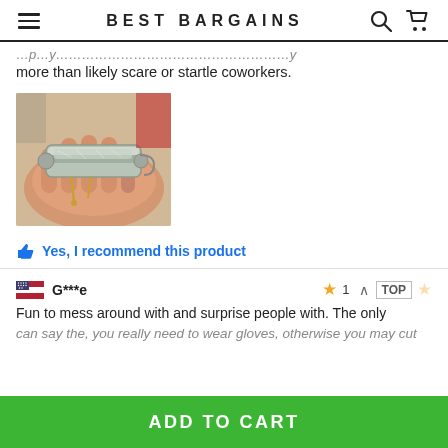BEST BARGAINS
more than likely scare or startle coworkers.
[Figure (photo): A hand holding a small metallic cylindrical device with pins, appearing to be a small electronic or mechanical component.]
Yes, I recommend this product
G***e — 1 star rating
Fun to mess around with and surprise people with. The only can say the, you really need to wear gloves, otherwise you may cut